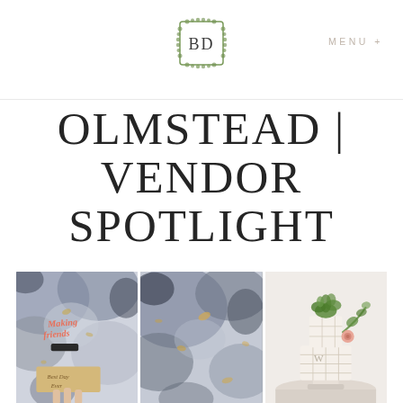BD | MENU +
OLMSTEAD | VENDOR SPOTLIGHT
[Figure (photo): Three side-by-side photos: left shows a hand holding a neon/coral script sign reading 'Making friends' and a wooden sign reading 'Best Day Ever' against an abstract painted background; center shows an abstract blue-grey and gold painted canvas background; right shows a two-tier white geometric wedding cake decorated with greenery and a pink flower, with monogram 'W' on the front.]